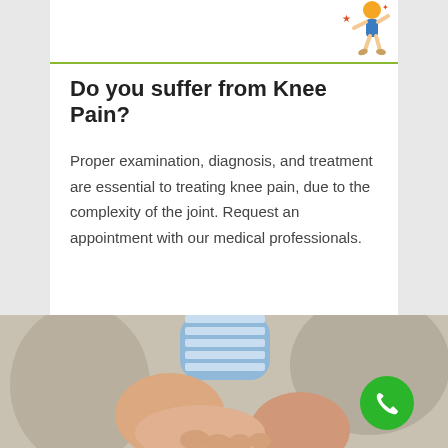[Figure (illustration): Small cartoon mascot figure in top right corner, person appearing to be in pain]
Do you suffer from Knee Pain?
Proper examination, diagnosis, and treatment are essential to treating knee pain, due to the complexity of the joint. Request an appointment with our medical professionals.
LEARN MORE
[Figure (photo): Photo of a person holding their feet/toes, suggesting knee or foot pain, with blue striped socks visible in the background]